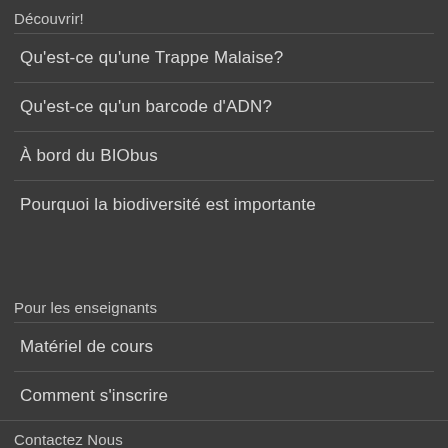Découvrir!
Qu'est-ce qu'une Trappe Malaise?
Qu'est-ce qu'un barcode d'ADN?
À bord du BIObus
Pourquoi la biodiversité est importante
Pour les enseignants
Matériel de cours
Comment s'inscrire
Contactez Nous
Équipe PSTM